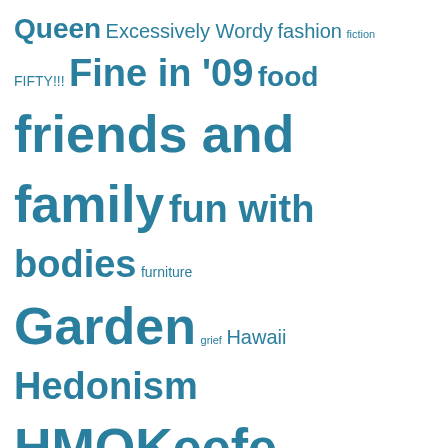[Figure (infographic): Tag cloud with words in various sizes in teal/blue color on white background. Words include: Queen, Excessively Wordy, fashion, fiction, FIFTY!!!, Fine in '09, food, friends and family, fun with bodies, furniture, Garden, grief, Hawaii, Hedonism, HMOKeefe, holidays, home repair, Ibiza 2019, letters, Lingerie, memoir, menopause, Mental Illness, military brat, minimalism, money, mountains, music, My Neck of the Woods, Obama, Poetry, Politics, product review, Puppies, quotes, ranting and raving, right here right now, Road Trip, self-reliance, shoes, stuff, stupid, Technology, To-Do]